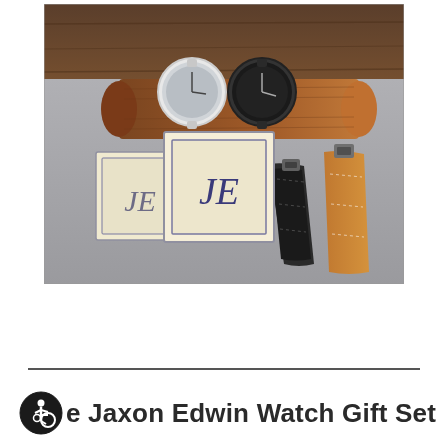[Figure (photo): A product photo showing the Jaxon Edwin Watch Gift Set, including two watches (one with silver case and grey dial, one with black dial) resting on a rolled brown leather watch roll, two watch straps (black and tan leather) lying flat, and two monogrammed gift boxes with 'JE' initials on a grey stone surface with wood background.]
e Jaxon Edwin Watch Gift Set